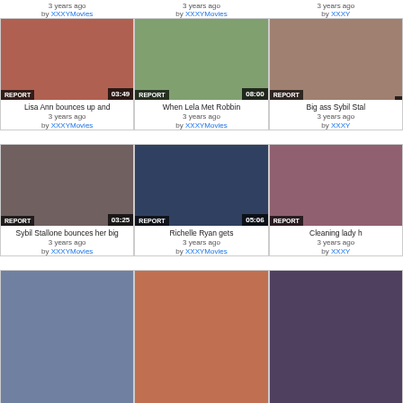[Figure (screenshot): Video thumbnail grid from adult video website showing 9 video cards in 3 columns across 3 rows plus partial top row with timestamps and user links]
Lisa Ann bounces up and
3 years ago
by XXXYMovies
When Lela Met Robbin
3 years ago
by XXXYMovies
Big ass Sybil Stal...
3 years ago
by XXXY...
Sybil Stallone bounces her big
3 years ago
by XXXYMovies
Richelle Ryan gets
3 years ago
by XXXYMovies
Cleaning lady h...
3 years ago
by XXXY...